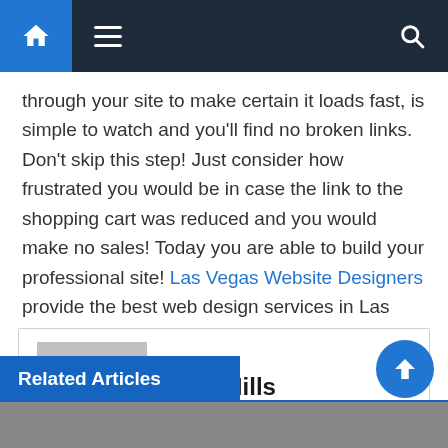Navigation bar with home, menu, and search icons
through your site to make certain it loads fast, is simple to watch and you'll find no broken links. Don't skip this step! Just consider how frustrated you would be in case the link to the shopping cart was reduced and you would make no sales! Today you are able to build your professional site! Las Vegas Website Designers provide the best web design services in Las Vegas.
Tom Mills
Related Articles